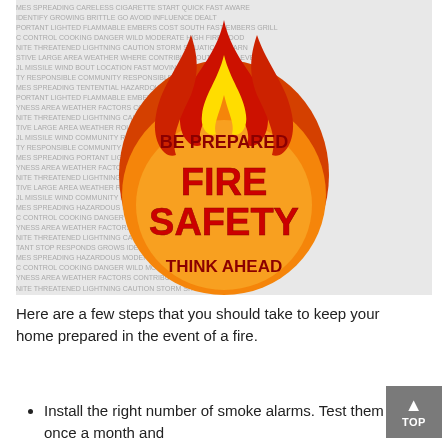[Figure (illustration): Fire safety illustration: a flame graphic over a word-cloud background containing fire-related terms. Text on the image reads 'BE PREPARED', 'FIRE SAFETY', 'THINK AHEAD' in red and gold lettering.]
Here are a few steps that you should take to keep your home prepared in the event of a fire.
Install the right number of smoke alarms. Test them once a month and